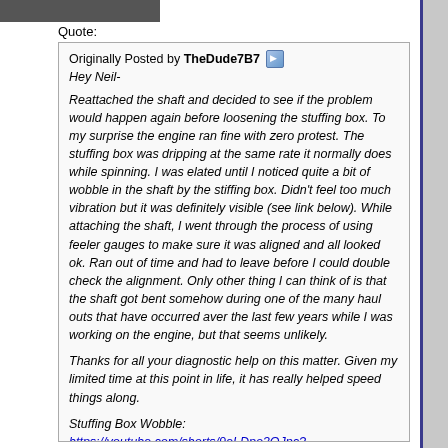[Figure (photo): Partial avatar/profile image strip at top left, dark grayscale photo]
Quote:
Originally Posted by TheDude7B7
Hey Neil-

Reattached the shaft and decided to see if the problem would happen again before loosening the stuffing box. To my surprise the engine ran fine with zero protest. The stuffing box was dripping at the same rate it normally does while spinning. I was elated until I noticed quite a bit of wobble in the shaft by the stiffing box. Didn't feel too much vibration but it was definitely visible (see link below). While attaching the shaft, I went through the process of using feeler gauges to make sure it was aligned and all looked ok. Ran out of time and had to leave before I could double check the alignment. Only other thing I can think of is that the shaft got bent somehow during one of the many haul outs that have occurred aver the last few years while I was working on the engine, but that seems unlikely.

Thanks for all your diagnostic help on this matter. Given my limited time at this point in life, it has really helped speed things along.

Stuffing Box Wobble:
https://youtube.com/shorts/9eLDpo3QJpc?feature=share